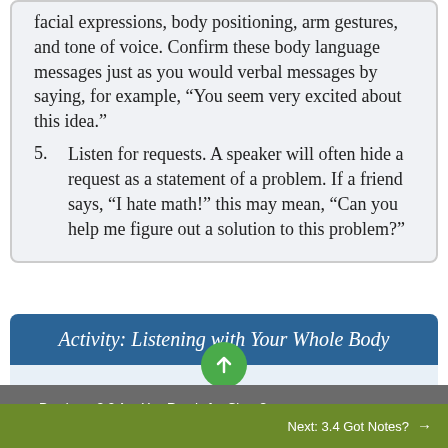facial expressions, body positioning, arm gestures, and tone of voice. Confirm these body language messages just as you would verbal messages by saying, for example, “You seem very excited about this idea.”
5. Listen for requests. A speaker will often hide a request as a statement of a problem. If a friend says, “I hate math!” this may mean, “Can you help me figure out a solution to this problem?”
Activity: Listening with Your Whole Body
Think of a person you consider an excellent listener.
Previous: 3.2 Are You Ready for Class?
Next: 3.4 Got Notes?